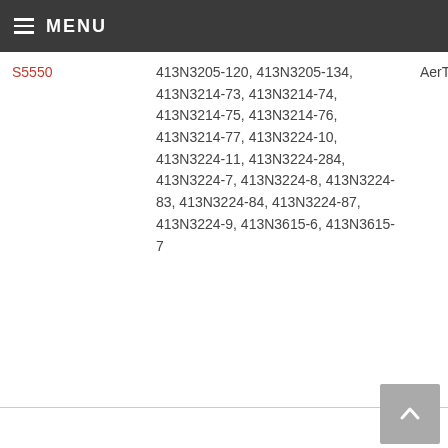MENU
| Model | Part Numbers | Brand |
| --- | --- | --- |
| S5550 | 413N3205-120, 413N3205-134, 413N3214-73, 413N3214-74, 413N3214-75, 413N3214-76, 413N3214-77, 413N3224-10, 413N3224-11, 413N3224-284, 413N3224-7, 413N3224-8, 413N3224-83, 413N3224-84, 413N3224-87, 413N3224-9, 413N3615-6, 413N3615-7 | AerTrim |